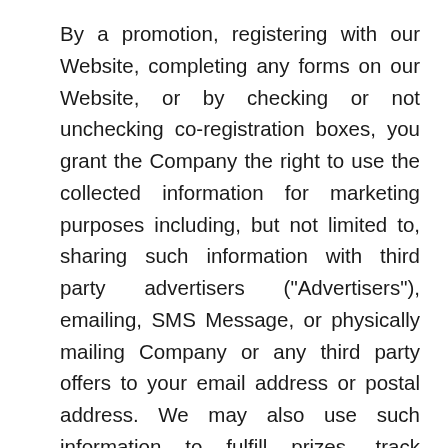By a promotion, registering with our Website, completing any forms on our Website, or by checking or not unchecking co-registration boxes, you grant the Company the right to use the collected information for marketing purposes including, but not limited to, sharing such information with third party advertisers ("Advertisers"), emailing, SMS Message, or physically mailing Company or any third party offers to your email address or postal address. We may also use such information to fulfill prizes, track compliance with the applicable sweepstakes or promotion rules, or for content improvement and feedback